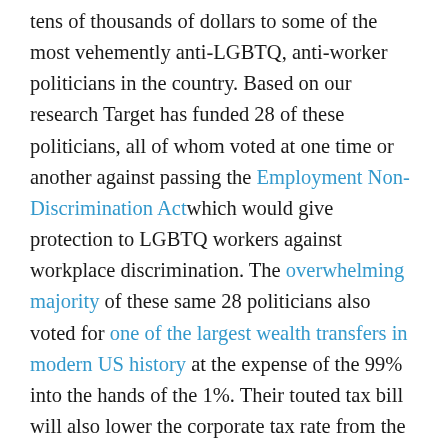tens of thousands of dollars to some of the most vehemently anti-LGBTQ, anti-worker politicians in the country. Based on our research Target has funded 28 of these politicians, all of whom voted at one time or another against passing the Employment Non-Discrimination Act which would give protection to LGBTQ workers against workplace discrimination. The overwhelming majority of these same 28 politicians also voted for one of the largest wealth transfers in modern US history at the expense of the 99% into the hands of the 1%. Their touted tax bill will also lower the corporate tax rate from the current 35% to 21%, giving corporations $320 billion dollars in benefits. It is a complete lie that Target funding these anti-LGBTQ, anti-worker politicians is not part of a “political or